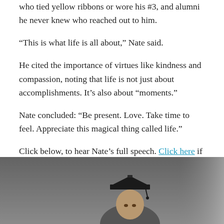who tied yellow ribbons or wore his #3, and alumni he never knew who reached out to him.
“This is what life is all about,” Nate said.
He cited the importance of virtues like kindness and compassion, noting that life is not just about accomplishments. It’s also about “moments.”
Nate concluded: “Be present. Love. Take time to feel. Appreciate this magical thing called life.”
Click below, to hear Nate’s full speech. Click here if your browser does not take you directly to YouTube.
[Figure (photo): A person wearing a black graduation cap, photographed from approximately the shoulders up. The background is grey/blurred.]